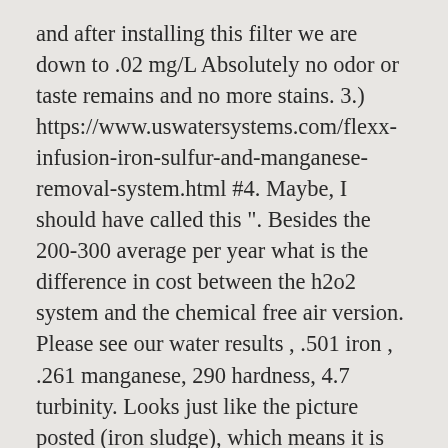and after installing this filter we are down to .02 mg/L Absolutely no odor or taste remains and no more stains. 3.) https://www.uswatersystems.com/flexx-infusion-iron-sulfur-and-manganese-removal-system.html #4. Maybe, I should have called this ". Besides the 200-300 average per year what is the difference in cost between the h2o2 system and the chemical free air version. Please see our water results , .501 iron , .261 manganese, 290 hardness, 4.7 turbinity. Looks just like the picture posted (iron sludge), which means it is working! We are not sure if our new water conditioning system can handle the iron. © 2020 US WATER SYSTEMS INC ALL RIGHTS RESERVED. But, if you are a "glass half full